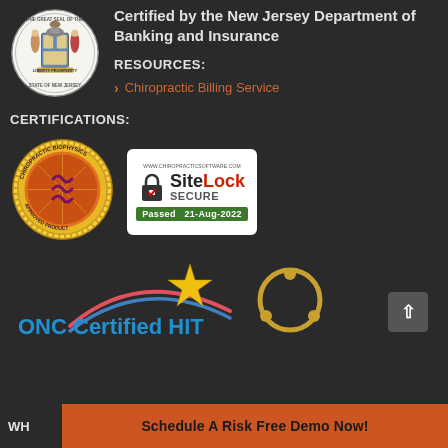[Figure (logo): New Jersey State Seal]
Certified by the New Jersey Department of Banking and Insurance
RESOURCES:
> Chiropractic Billing Service
CERTIFICATIONS:
[Figure (logo): Chiropractic Biophysics Approved Product badge]
[Figure (logo): SiteLock SECURE Passed 21-Aug-2022 badge]
[Figure (logo): ONC Certified HIT logo with swoosh and star]
[Figure (logo): Golden ring/circle logo]
WH
Schedule A Risk Free Demo Now!